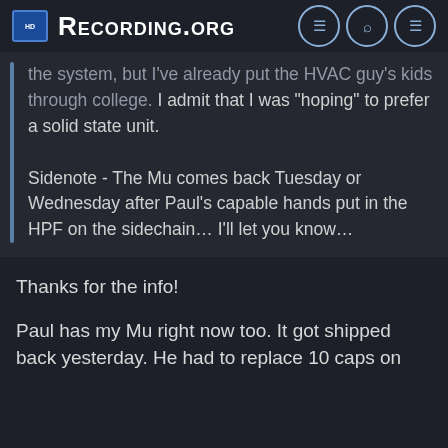Recording.org
the system, but I've already put the HVAC guy's kids through college. I admit that I was "hoping" to prefer a solid state unit.

Sidenote - The Mu comes back Tuesday or Wednesday after Paul's capable hands put in the HPF on the sidechain... I'll let you know...
Thanks for the info!
Paul has my Mu right now too. It got shipped back yesterday. He had to replace 10 caps on